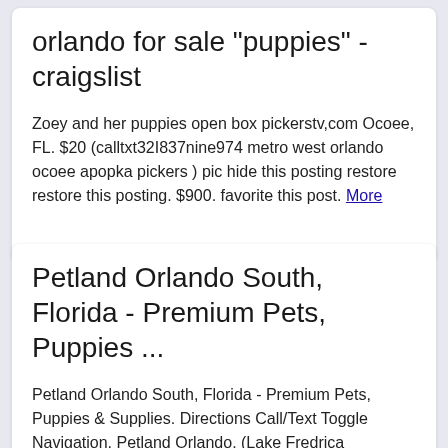orlando for sale "puppies" - craigslist
Zoey and her puppies open box pickerstv,com Ocoee, FL. $20 (calltxt32I837nine974 metro west orlando ocoee apopka pickers ) pic hide this posting restore restore this posting. $900. favorite this post. More
Petland Orlando South, Florida - Premium Pets, Puppies ...
Petland Orlando South, Florida - Premium Pets, Puppies & Supplies. Directions Call/Text Toggle Navigation. Petland Orlando. (Lake Fredrica